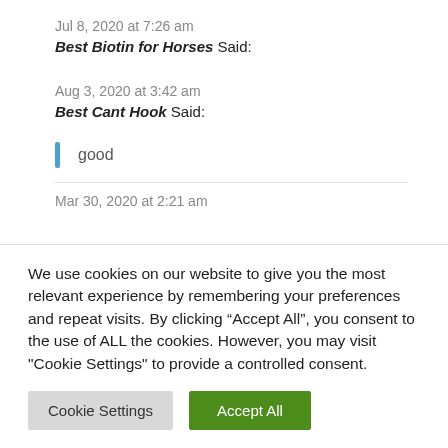Jul 8, 2020 at 7:26 am
Best Biotin for Horses Said:
Aug 3, 2020 at 3:42 am
Best Cant Hook Said:
good
Mar 30, 2020 at 2:21 am
We use cookies on our website to give you the most relevant experience by remembering your preferences and repeat visits. By clicking “Accept All”, you consent to the use of ALL the cookies. However, you may visit "Cookie Settings" to provide a controlled consent.